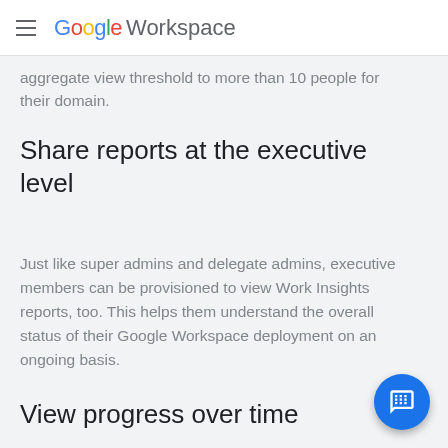Google Workspace
aggregate view threshold to more than 10 people for their domain.
Share reports at the executive level
Just like super admins and delegate admins, executive members can be provisioned to view Work Insights reports, too. This helps them understand the overall status of their Google Workspace deployment on an ongoing basis.
View progress over time
Get one month of historical information...